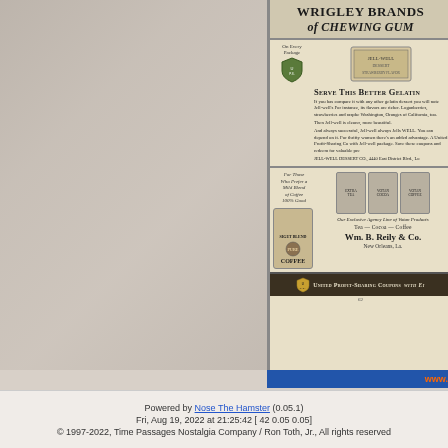[Figure (photo): Background collage of vintage candy and product packaging items, faded/watermarked]
WRIGLEY BRANDS of CHEWING GUM
[Figure (illustration): Vintage advertisement for Jell-Well Dessert including shield icon, product box image, and body text about gelatin dessert]
SERVE THIS BETTER GELATIN
If you has compare it with any other gelatin dessert you will note Jell-well's For instance, its flavors are richer. Loganberries, strawberries and raspbe Washington, Oranges of California, too. Then Jell-well is clearer, more beautiful. And always successful, Jell-well always Jells WELL. You can depend on it. For thrifty women there's an added advantage. A United Profit-Sharing Co with Jell-well package. Save these coupons and redeem for valuable pre
JELL-WELL DESSERT CO., 4440 East District Blvd., Lo
[Figure (illustration): Advertisement for Wm. B. Reily & Co. showing coffee and tea product cans including Siget Blend Pure Coffee and Votan products]
For Those Who Prefer a Mild Blend of Coffee 100% Good
Our Exclusive Agency Line of Votan Products TEA — COCOA — COFFEE
Wm. B. Reily & Co. New Orleans, La.
UNITED PROFIT-SHARING COUPONS with Ei
Powered by Nose The Hamster (0.05.1) Fri, Aug 19, 2022 at 21:25:42 [ 42 0.05 0.05]
© 1997-2022, Time Passages Nostalgia Company / Ron Toth, Jr., All rights reserved